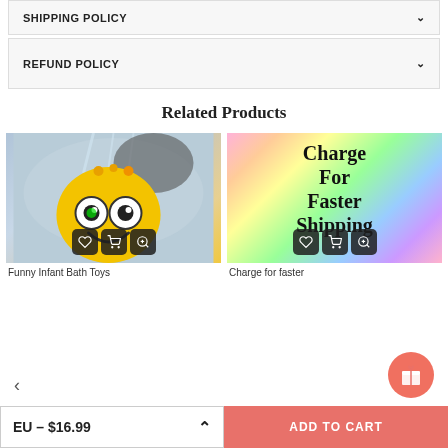SHIPPING POLICY
REFUND POLICY
Related Products
[Figure (photo): Yellow smiley face bath toy with water spraying, glowing green eyes, with wishlist/cart/zoom icon buttons overlay]
Funny Infant Bath Toys
[Figure (photo): Holographic rainbow background with text 'Charge For Faster Shipping' in bold serif font, with wishlist/cart/zoom icon buttons overlay]
Charge for faster
EU – $16.99
ADD TO CART